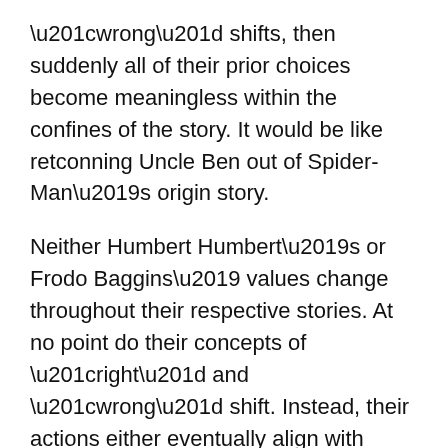“wrong” shifts, then suddenly all of their prior choices become meaningless within the confines of the story. It would be like retconning Uncle Ben out of Spider-Man’s origin story.
Neither Humbert Humbert’s or Frodo Baggins’ values change throughout their respective stories. At no point do their concepts of “right” and “wrong” shift. Instead, their actions either eventually align with those (stated or implied) values or transgress against them. The hero’s choices must be mobile – not the yardstick by which they are measured. Whether we agree with them or not, heroic characters maintain a firm and unchanging set of values: they must be “sincere” in their worldview. It is the choices they make relative to that philosophy that affects the drama and resonance of a story, and which makes them heroic.